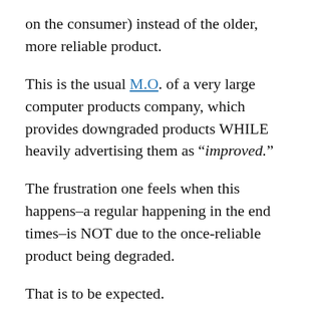on the consumer) instead of the older, more reliable product.
This is the usual M.O. of a very large computer products company, which provides downgraded products WHILE heavily advertising them as “improved.”
The frustration one feels when this happens–a regular happening in the end times–is NOT due to the once-reliable product being degraded.
That is to be expected.
The frustration one feels stems largely from